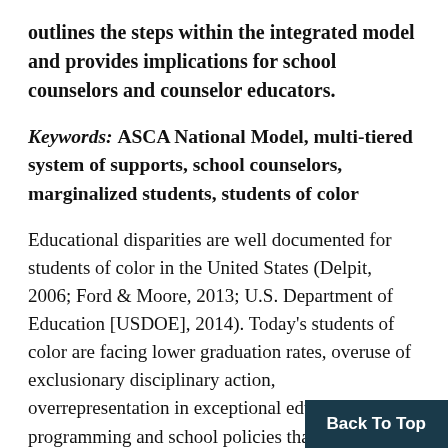outlines the steps within the integrated model and provides implications for school counselors and counselor educators.
Keywords: ASCA National Model, multi-tiered system of supports, school counselors, marginalized students, students of color
Educational disparities are well documented for students of color in the United States (Delpit, 2006; Ford & Moore, 2013; U.S. Department of Education [USDOE], 2014). Today's students of color are facing lower graduation rates, overuse of exclusionary disciplinary action, overrepresentation in exceptional education programming and school policies that